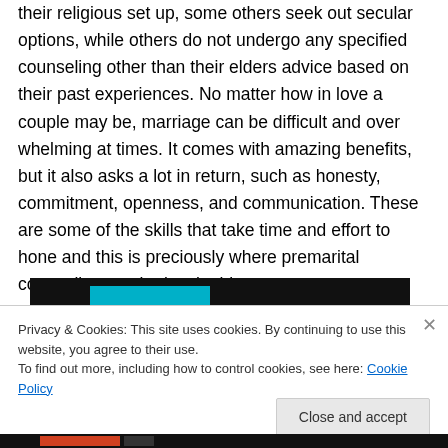their religious set up, some others seek out secular options, while others do not undergo any specified counseling other than their elders advice based on their past experiences. No matter how in love a couple may be, marriage can be difficult and over whelming at times. It comes with amazing benefits, but it also asks a lot in return, such as honesty, commitment, openness, and communication. These are some of the skills that take time and effort to hone and this is preciously where premarital counseling can be invaluable.
[Figure (screenshot): Dark banner image strip at top of embedded content]
Privacy & Cookies: This site uses cookies. By continuing to use this website, you agree to their use.
To find out more, including how to control cookies, see here: Cookie Policy
Close and accept